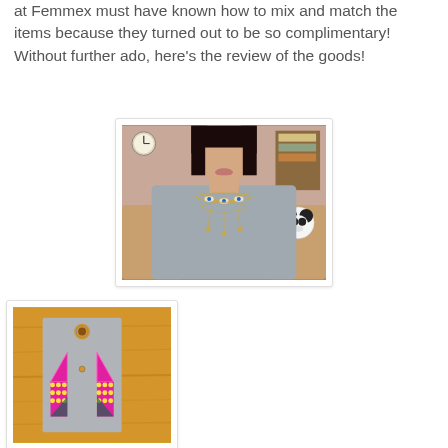at Femmex must have known how to mix and match the items because they turned out to be so complimentary! Without further ado, here's the review of the goods!
[Figure (photo): Photo of a young woman wearing a gray sleeveless top and a layered chain necklace with eye-shaped pendants, photographed from the shoulders up in a room with a panda stuffed animal visible in the background.]
[Figure (photo): Photo of a gray metal earring card with a hole punch at the top, displayed against a yellow-orange wooden background. The earrings shown are pink/magenta geometric arrow-shaped pieces with small studs.]